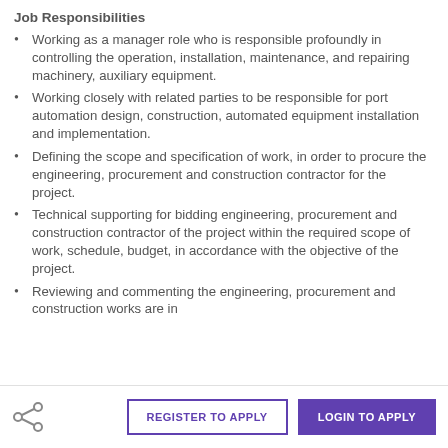Job Responsibilities
Working as a manager role who is responsible profoundly in controlling the operation, installation, maintenance, and repairing machinery, auxiliary equipment.
Working closely with related parties to be responsible for port automation design, construction, automated equipment installation and implementation.
Defining the scope and specification of work, in order to procure the engineering, procurement and construction contractor for the project.
Technical supporting for bidding engineering, procurement and construction contractor of the project within the required scope of work, schedule, budget, in accordance with the objective of the project.
Reviewing and commenting the engineering, procurement and construction works are in